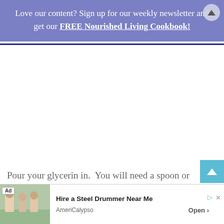Love our content? Sign up for our weekly newsletter and get our FREE Nourished Living Cookbook!
[Figure (photo): Large white/blank image area in main content column]
Pour your glycerin in.  You will need a spoon or something to stir gently and help it
[Figure (photo): Advertisement banner: Hire a Steel Drummer Near Me – AmeriCalypso. Ad image shows people dancing outdoors.]